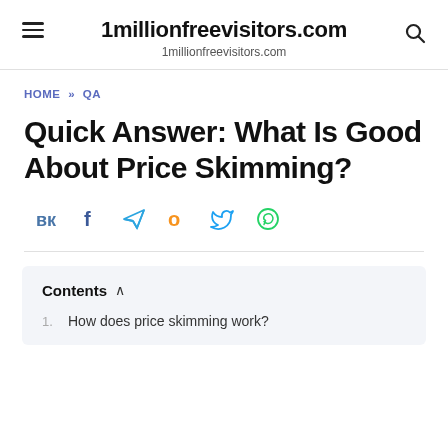1millionfreevisitors.com
1millionfreevisitors.com
HOME » QA
Quick Answer: What Is Good About Price Skimming?
[Figure (infographic): Social sharing icons: VK (blue), Facebook (dark blue), Telegram (light blue), Odnoklassniki (orange), Twitter (blue), WhatsApp (green)]
Contents
1. How does price skimming work?